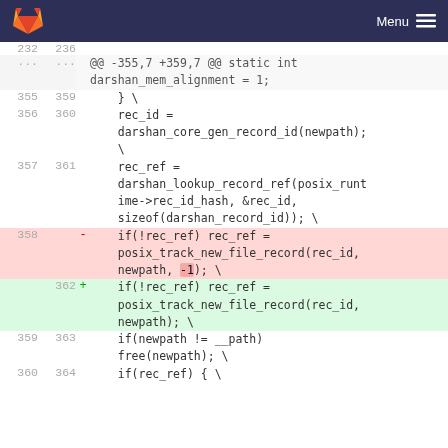Menu
| Old | New |  | Code |
| --- | --- | --- | --- |
| 232 | 236 |  |  |
| ... | ... |  | @@ -355,7 +359,7 @@ static int darshan_mem_alignment = 1; |
| 355 | 359 |  |     } \ |
| 356 | 360 |  |     rec_id =
    darshan_core_gen_record_id(newpath);
    \ |
| 357 | 361 |  |     rec_ref =
    darshan_lookup_record_ref(posix_runt
    ime->rec_id_hash, &rec_id,
    sizeof(darshan_record_id)); \ |
| 358 |  | - |     if(!rec_ref) rec_ref =
    posix_track_new_file_record(rec_id,
    newpath, -1); \ |
|  | 362 | + |     if(!rec_ref) rec_ref =
    posix_track_new_file_record(rec_id,
    newpath); \ |
| 359 | 363 |  |     if(newpath != __path)
    free(newpath); \ |
| 360 | 364 |  |     if(rec_ref) { \ |